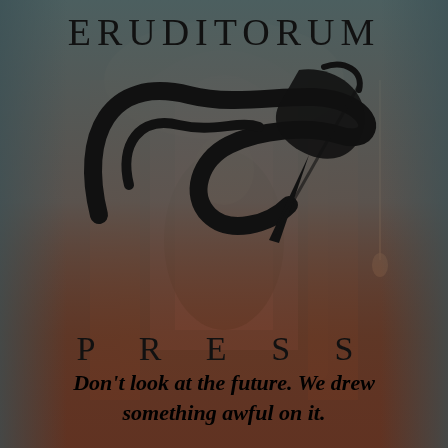[Figure (logo): Eruditorum Press logo page with background illustration of a robed figure, overlaid with teal/grey gradient at top and red/brown at bottom. Features the 'EP' stylized logo in black, the text ERUDITORUM at top, PRESS below the logo, and an italic bold tagline at bottom.]
ERUDITORUM
P R E S S
Don't look at the future. We drew something awful on it.